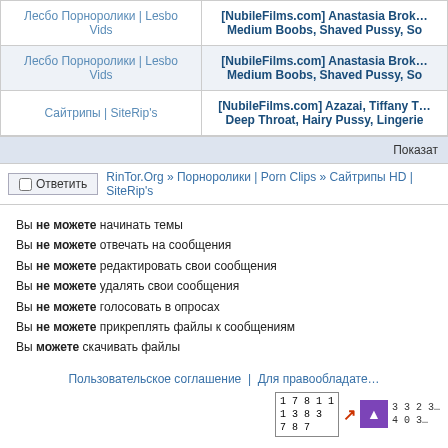| Category | Title |
| --- | --- |
| Лесбо Порноролики | Lesbo Vids | [NubileFilms.com] Anastasia Brok... Medium Boobs, Shaved Pussy, So |
| Лесбо Порноролики | Lesbo Vids | [NubileFilms.com] Anastasia Brok... Medium Boobs, Shaved Pussy, So |
| Сайтрипы | SiteRip's | [NubileFilms.com] Azazai, Tiffany T... Deep Throat, Hairy Pussy, Lingerie |
Показат
Ответить   RinTor.Org » Порноролики | Porn Clips » Сайтрипы HD | SiteRip's
Вы не можете начинать темы
Вы не можете отвечать на сообщения
Вы не можете редактировать свои сообщения
Вы не можете удалять свои сообщения
Вы не можете голосовать в опросах
Вы не можете прикреплять файлы к сообщениям
Вы можете скачивать файлы
Пользовательское соглашение  |  Для правообладате...